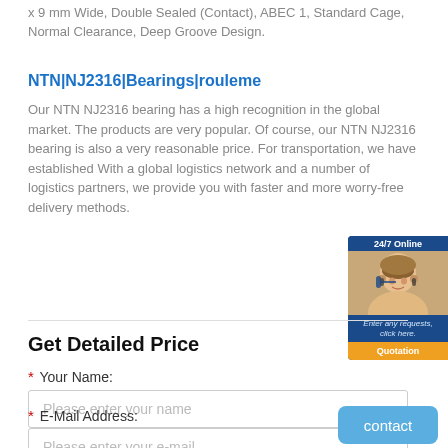x 9 mm Wide, Double Sealed (Contact), ABEC 1, Standard Cage, Normal Clearance, Deep Groove Design.
NTN|NJ2316|Bearings|rouleme
Our NTN NJ2316 bearing has a high recognition in the global market. The products are very popular. Of course, our NTN NJ2316 bearing is also a very reasonable price. For transportation, we have established With a global logistics network and a number of logistics partners, we provide you with faster and more worry-free delivery methods.
[Figure (photo): 24/7 Online customer service widget with a female customer support representative wearing a headset, with text 'Enter any requests, click here.' and a 'Quotation' button]
Get Detailed Price
* Your Name:
Please enter your name
* E-Mail Address:
Please enter your e-mail
contact